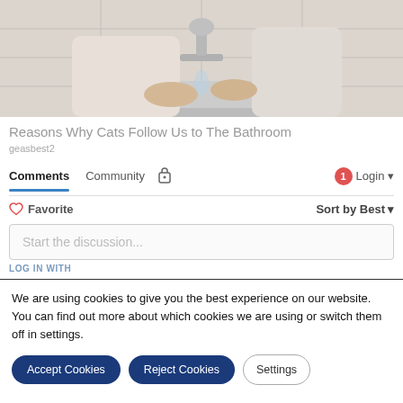[Figure (photo): Person washing hands at a bathroom sink with chrome faucet, white walls in background]
Reasons Why Cats Follow Us to The Bathroom
geasbest2
Comments  Community  🔒  (1) Login ▾
♡ Favorite   Sort by Best ▾
Start the discussion...
LOG IN WITH
We are using cookies to give you the best experience on our website.
You can find out more about which cookies we are using or switch them off in settings.
Accept Cookies  Reject Cookies  Settings